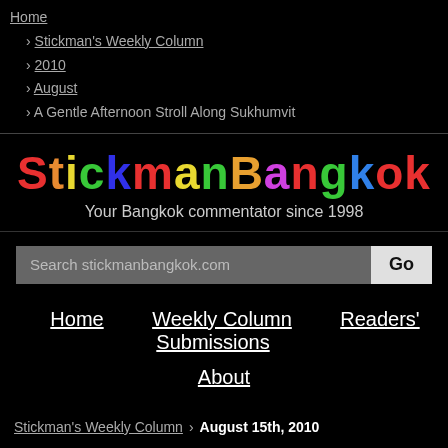Home › Stickman's Weekly Column › 2010 › August › A Gentle Afternoon Stroll Along Sukhumvit
StickmanBangkok
Your Bangkok commentator since 1998
Search stickmanbangkok.com | Go
Home
Weekly Column
Readers' Submissions
About
Stickman's Weekly Column › August 15th, 2010
A Gentle Afternoon Stroll Along